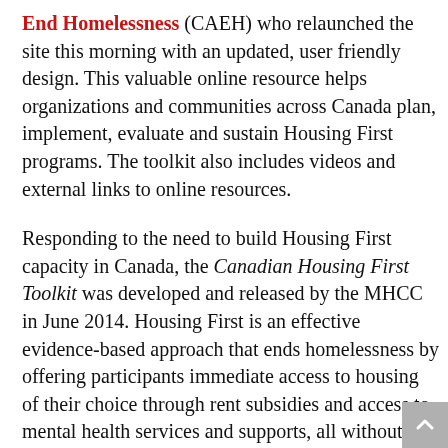End Homelessness (CAEH) who relaunched the site this morning with an updated, user friendly design. This valuable online resource helps organizations and communities across Canada plan, implement, evaluate and sustain Housing First programs. The toolkit also includes videos and external links to online resources.
Responding to the need to build Housing First capacity in Canada, the Canadian Housing First Toolkit was developed and released by the MHCC in June 2014. Housing First is an effective evidence-based approach that ends homelessness by offering participants immediate access to housing of their choice through rent subsidies and access to mental health services and supports, all without preconditions.
“This toolkit has become Canada’s national textbook on Housing First and it is a vital resource for ending homelessness,” said Tim Richter